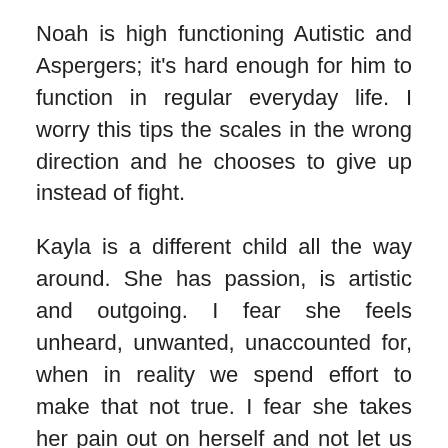Noah is high functioning Autistic and Aspergers; it's hard enough for him to function in regular everyday life. I worry this tips the scales in the wrong direction and he chooses to give up instead of fight.
Kayla is a different child all the way around. She has passion, is artistic and outgoing. I fear she feels unheard, unwanted, unaccounted for, when in reality we spend effort to make that not true. I fear she takes her pain out on herself and not let us help. I fear she